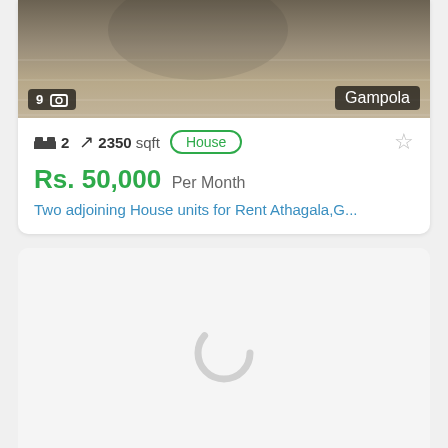[Figure (photo): Interior room photo showing wooden floor and curved furniture, partially visible. Overlays show '9 [image icon]' bottom-left and 'Gampola' bottom-right.]
🛏 2  ↗ 2350 sqft  House  ☆
Rs. 50,000 Per Month
Two adjoining House units for Rent Athagala,G...
[Figure (other): Loading spinner / grey loading card for next listing]